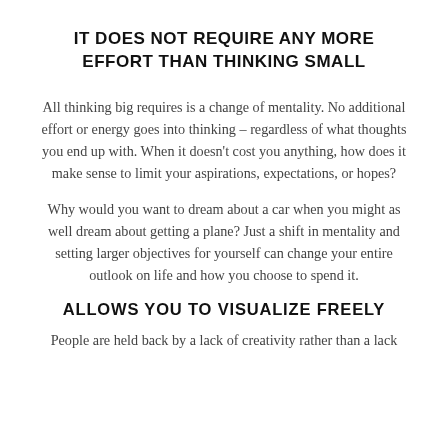IT DOES NOT REQUIRE ANY MORE EFFORT THAN THINKING SMALL
All thinking big requires is a change of mentality. No additional effort or energy goes into thinking – regardless of what thoughts you end up with. When it doesn't cost you anything, how does it make sense to limit your aspirations, expectations, or hopes?
Why would you want to dream about a car when you might as well dream about getting a plane? Just a shift in mentality and setting larger objectives for yourself can change your entire outlook on life and how you choose to spend it.
ALLOWS YOU TO VISUALIZE FREELY
People are held back by a lack of creativity rather than a lack